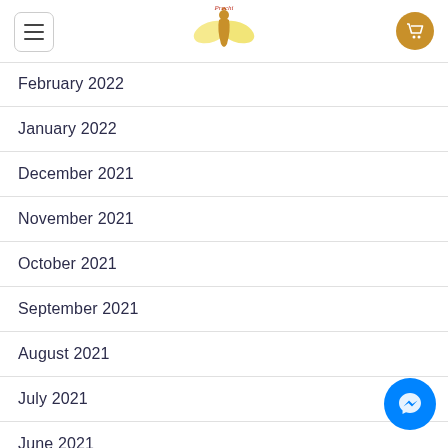Prachi (logo)
February 2022
January 2022
December 2021
November 2021
October 2021
September 2021
August 2021
July 2021
June 2021
May 2021